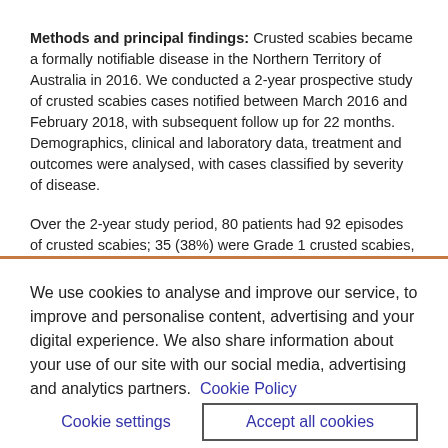Methods and principal findings: Crusted scabies became a formally notifiable disease in the Northern Territory of Australia in 2016. We conducted a 2-year prospective study of crusted scabies cases notified between March 2016 and February 2018, with subsequent follow up for 22 months. Demographics, clinical and laboratory data, treatment and outcomes were analysed, with cases classified by severity of disease.
Over the 2-year study period, 80 patients had 92 episodes of crusted scabies; 35 (38%) were Grade 1 crusted scabies, 36 (39%) Grade 2 and 21 (23%) Grade 3. Median age was 47 years, 47 (59%) were female, 76 (95%) Indigenous Australians and 57
We use cookies to analyse and improve our service, to improve and personalise content, advertising and your digital experience. We also share information about your use of our site with our social media, advertising and analytics partners.  Cookie Policy
Cookie settings
Accept all cookies